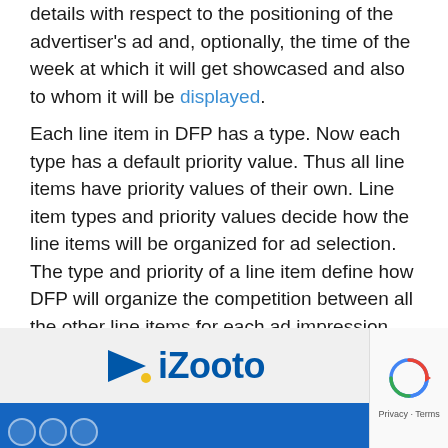details with respect to the positioning of the advertiser's ad and, optionally, the time of the week at which it will get showcased and also to whom it will be displayed.
Each line item in DFP has a type. Now each type has a default priority value. Thus all line items have priority values of their own. Line item types and priority values decide how the line items will be organized for ad selection. The type and priority of a line item define how DFP will organize the competition between all the other line items for each ad impression.
[Figure (other): iZooto advertisement banner with logo on light grey background and blue bar below, alongside a reCAPTCHA widget showing Privacy and Terms links.]